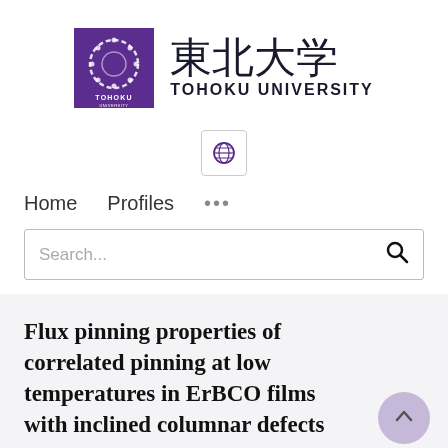[Figure (logo): Tohoku University logo: purple square with circular dashed emblem and text TOHOKU UNIVERSITY, alongside Japanese kanji 東北大学 and Roman text TOHOKU UNIVERSITY]
[Figure (logo): Globe/language selector icon in a small bordered button]
Home   Profiles   ...
Search...
Flux pinning properties of correlated pinning at low temperatures in ErBCO films with inclined columnar defects